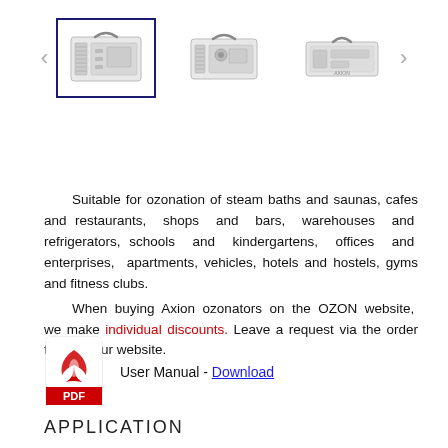[Figure (photo): Product image carousel showing three ozonator devices. The first (selected, with blue border) is a front-grill box-style unit. The second shows a similar smaller unit from the side. The third is a flat rectangular unit. Left and right navigation arrows flank the images.]
Suitable for ozonation of steam baths and saunas, cafes and restaurants, shops and bars, warehouses and refrigerators, schools and kindergartens, offices and enterprises, apartments, vehicles, hotels and hostels, gyms and fitness clubs.

When buying Axion ozonators on the OZON website, we make individual discounts. Leave a request via the order form on our website.
[Figure (logo): PDF icon with red Acrobat-style logo and red PDF label banner at the bottom.]
User Manual - Download
APPLICATION